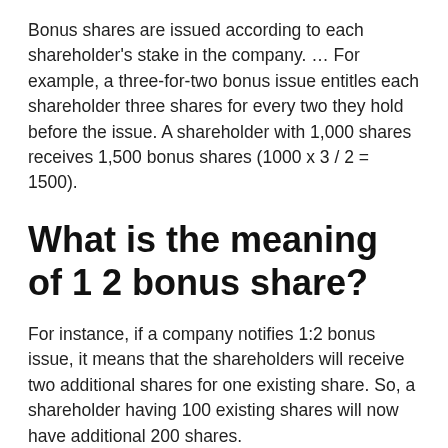Bonus shares are issued according to each shareholder's stake in the company. … For example, a three-for-two bonus issue entitles each shareholder three shares for every two they hold before the issue. A shareholder with 1,000 shares receives 1,500 bonus shares (1000 x 3 / 2 = 1500).
What is the meaning of 1 2 bonus share?
For instance, if a company notifies 1:2 bonus issue, it means that the shareholders will receive two additional shares for one existing share. So, a shareholder having 100 existing shares will now have additional 200 shares.